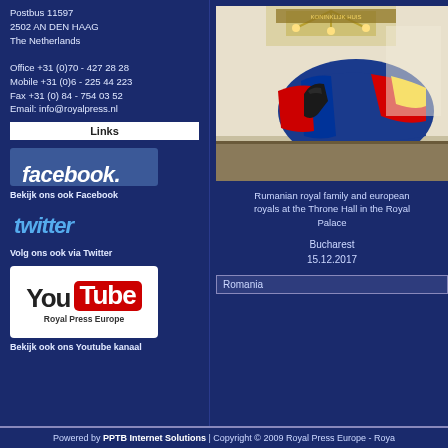Postbus 11597
2502 AN DEN HAAG
The Netherlands

Office +31 (0)70 - 427 28 28
Mobile +31 (0)6 - 225 44 223
Fax +31 (0) 84 - 754 03 52
Email: info@royalpress.nl
Links
[Figure (logo): Facebook logo button - blue background with white 'facebook.' text]
Bekijk ons ook Facebook
[Figure (logo): Twitter logo - cyan italic 'twitter' text]
Volg ons ook via Twitter
[Figure (logo): YouTube banner with Royal Press Europe branding]
Bekijk ook ons Youtube kanaal
[Figure (photo): Rumanian royal family and european royals at the Throne Hall in the Royal Palace, Bucharest]
Rumanian royal family and european royals at the Throne Hall in the Royal Palace
Bucharest
15.12.2017
Romania
Powered by PPTB Internet Solutions | Copyright © 2009 Royal Press Europe - Roya